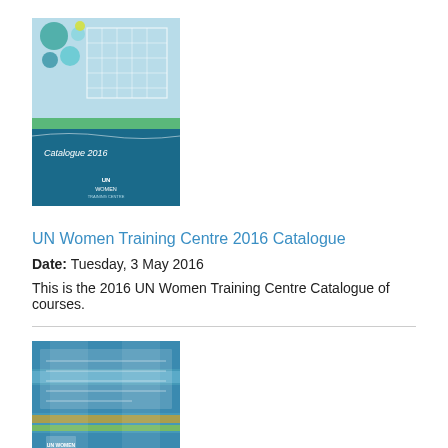[Figure (illustration): Cover of UN Women Training Centre 2016 Catalogue — blue and teal decorative cover with building illustration and dots]
UN Women Training Centre 2016 Catalogue
Date: Tuesday, 3 May 2016
This is the 2016 UN Women Training Centre Catalogue of courses.
[Figure (illustration): Cover of Guidebook on CEDAW general recommendation no. 30 and the UN Security Council resolutions on women, peace and security — blue grid/cross pattern cover]
Guidebook on CEDAW general recommendation no. 30 and the UN Security Council resolutions on women, peace and security
Date: Tuesday, 4 August 2015